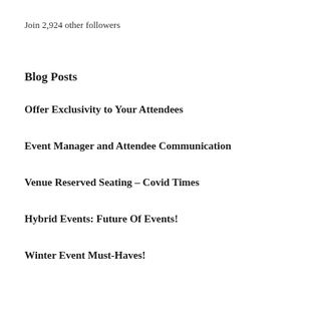Join 2,924 other followers
Blog Posts
Offer Exclusivity to Your Attendees
Event Manager and Attendee Communication
Venue Reserved Seating – Covid Times
Hybrid Events: Future Of Events!
Winter Event Must-Haves!